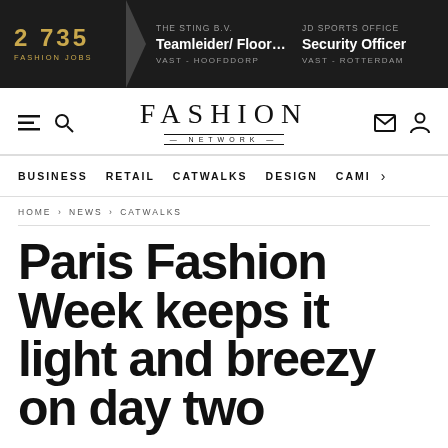2 735 FASHION JOBS | THE STING B.V. Teamleider/ Floormanager... VAST - HOOFDDORP | JD SPORTS OFFICE Security Officer VAST - ROTTERDAM
[Figure (logo): Fashion Network logo with FASHION in serif and NETWORK below in spaced caps]
BUSINESS  RETAIL  CATWALKS  DESIGN  CAMI >
HOME › NEWS › CATWALKS
Paris Fashion Week keeps it light and breezy on day two